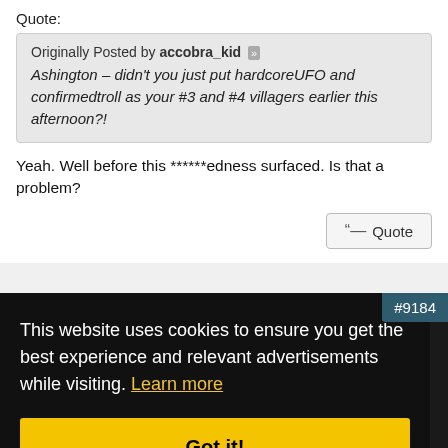Quote:
Originally Posted by accobra_kid
Ashington – didn't you just put hardcoreUFO and confirmedtroll as your #3 and #4 villagers earlier this afternoon?!
Yeah. Well before this ******edness surfaced. Is that a problem?
Quote (button)
#9184
This website uses cookies to ensure you get the best experience and relevant advertisements while visiting. Learn more
Got it!
...ard reads